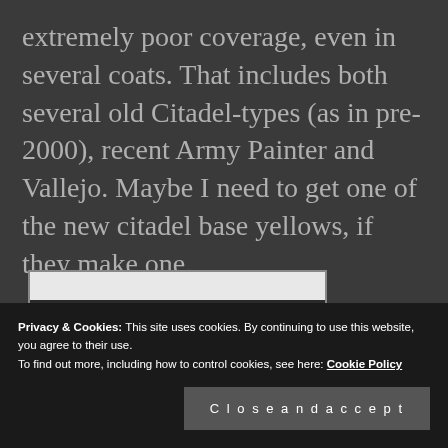extremely poor coverage, even in several coats. That includes both several old Citadel-types (as in pre-2000), recent Army Painter and Vallejo. Maybe I need to get one of the new citadel base yellows, if they make one.
[Figure (photo): Partial image showing what appears to be a painted miniature figure with red and yellow colors against a white/light background, partially visible at bottom of page]
Privacy & Cookies: This site uses cookies. By continuing to use this website, you agree to their use.
To find out more, including how to control cookies, see here: Cookie Policy